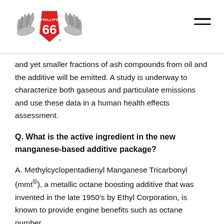Phillips 66 logo and navigation menu
and yet smaller fractions of ash compounds from oil and the additive will be emitted. A study is underway to characterize both gaseous and particulate emissions and use these data in a human health effects assessment.
Q. What is the active ingredient in the new manganese-based additive package?
A. Methylcyclopentadienyl Manganese Tricarbonyl (mmt®), a metallic octane boosting additive that was invented in the late 1950's by Ethyl Corporation, is known to provide engine benefits such as octane number